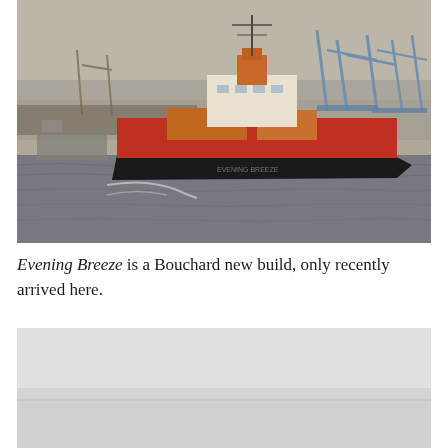[Figure (photo): A red and black cargo/tanker vessel named 'Evening Breeze' sailing on a river or harbor waterway. The ship has a white superstructure, red hull, and orange/yellow deck equipment. Industrial port cranes and other vessels are visible in the background. Overcast sky.]
Evening Breeze is a Bouchard new build, only recently arrived here.
[Figure (photo): Partial view of a second photograph, showing a pale gray sky and very faint horizon, mostly washed out/overexposed.]